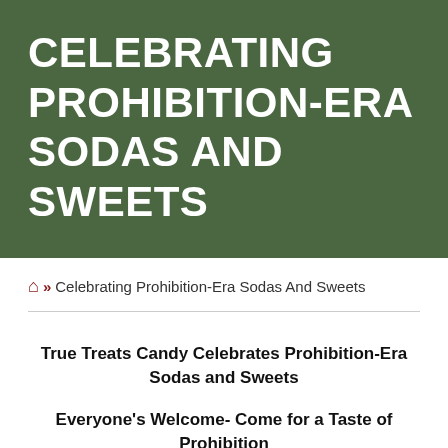CELEBRATING PROHIBITION-ERA SODAS AND SWEETS
🏠 » Celebrating Prohibition-Era Sodas And Sweets
True Treats Candy Celebrates Prohibition-Era Sodas and Sweets
Everyone's Welcome- Come for a Taste of Prohibition